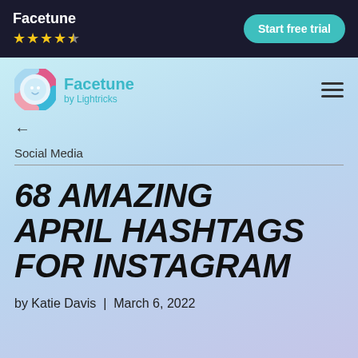Facetune ★★★★☆  Start free trial
[Figure (logo): Facetune app logo with colorful circular icon and text 'Facetune by Lightricks']
←
Social Media
68 AMAZING APRIL HASHTAGS FOR INSTAGRAM
by Katie Davis | March 6, 2022